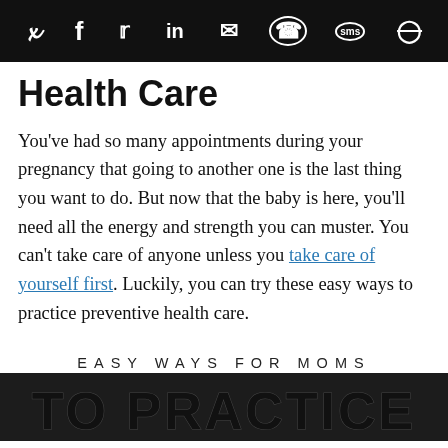[Social sharing icons: Pinterest, Facebook, Twitter, LinkedIn, Email, WhatsApp, SMS, Other]
Health Care
You've had so many appointments during your pregnancy that going to another one is the last thing you want to do. But now that the baby is here, you'll need all the energy and strength you can muster. You can't take care of anyone unless you take care of yourself first. Luckily, you can try these easy ways to practice preventive health care.
[Figure (infographic): Decorative infographic banner reading 'EASY WAYS FOR MOMS' above large bold text 'TO PRACTICE' on a dark background — part of a larger article title.]